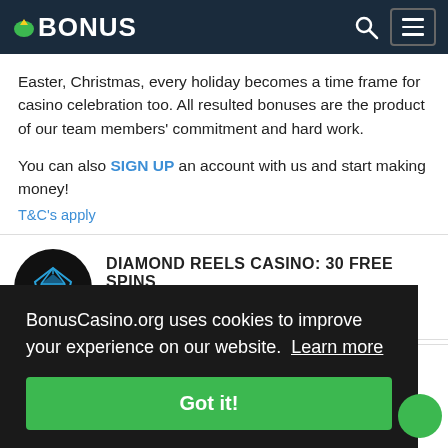BONUS (BonusCasino.org)
Easter, Christmas, every holiday becomes a time frame for casino celebration too. All resulted bonuses are the product of our team members' commitment and hard work.
You can also SIGN UP an account with us and start making money!
T&C's apply
DIAMOND REELS CASINO: 30 FREE SPINS
T&C APPLY. 18+ ONLY, GAMBLE RESPONSIBLY.
BonusCasino.org uses cookies to improve your experience on our website. Learn more
Got it!